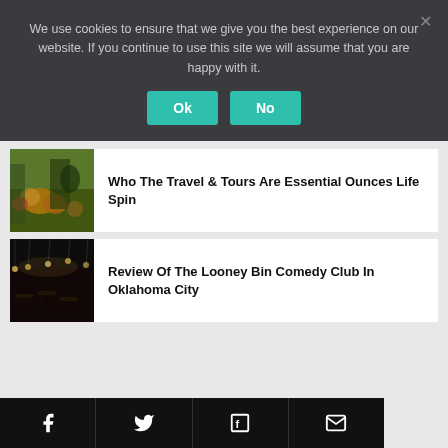We use cookies to ensure that we give you the best experience on our website. If you continue to use this site we will assume that you are happy with it.
Ok
No
Who The Travel & Tours Are Essential Ounces Life Spin
Review Of The Looney Bin Comedy Club In Oklahoma City
[Figure (photo): People at an outdoor market with fruits and vegetables, market scene]
[Figure (photo): Interior of comedy club with dark lighting and string lights overhead, tables and chairs visible]
Social sharing icons: Facebook, Twitter, Flipboard, Email